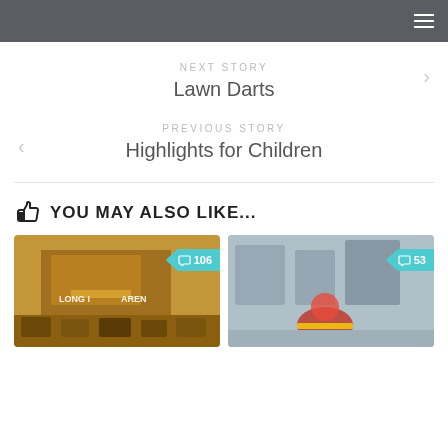NEXT STORY
Lawn Darts
PREVIOUS STORY
Highlights for Children
YOU MAY ALSO LIKE...
[Figure (photo): Sepia-toned photo of Long Island Arena exterior with parked cars, comment badge showing 106]
[Figure (photo): Photo of a clown sitting on a bench indoors, comment badge showing 53]